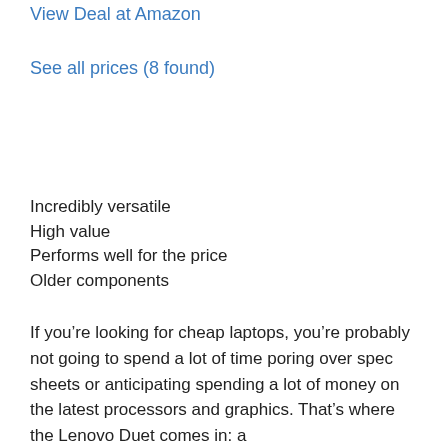View Deal at Amazon
See all prices (8 found)
Incredibly versatile
High value
Performs well for the price
Older components
If you're looking for cheap laptops, you're probably not going to spend a lot of time poring over spec sheets or anticipating spending a lot of money on the latest processors and graphics. That's where the Lenovo Duet comes in: a